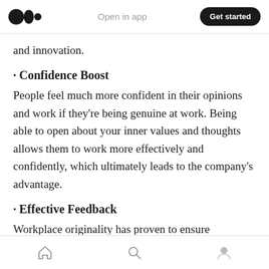Medium logo | Open in app | Get started
and innovation.
· Confidence Boost
People feel much more confident in their opinions and work if they're being genuine at work. Being able to open about your inner values and thoughts allows them to work more effectively and confidently, which ultimately leads to the company's advantage.
· Effective Feedback
Workplace originality has proven to ensure
Home | Search | Profile